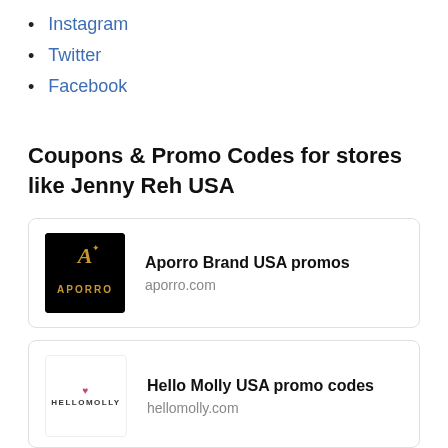Instagram
Twitter
Facebook
Coupons & Promo Codes for stores like Jenny Reh USA
[Figure (logo): Aporro Brand logo - black background with gold A figure and APORRO text]
Aporro Brand USA promos
aporro.com
[Figure (logo): Hello Molly logo - pink crown with HELLOMOLLY text]
Hello Molly USA promo codes
hellomolly.com